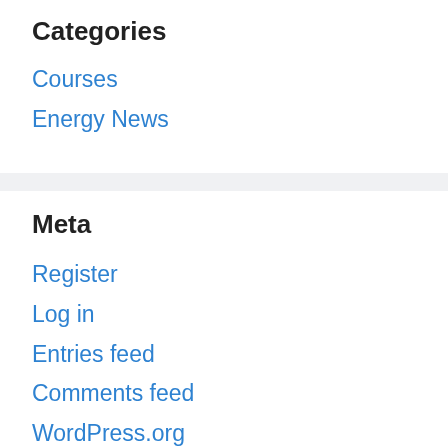Categories
Courses
Energy News
Meta
Register
Log in
Entries feed
Comments feed
WordPress.org